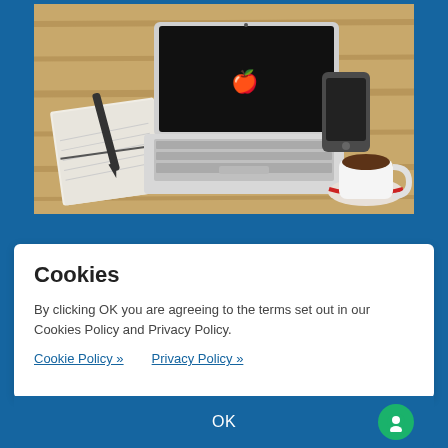[Figure (photo): Overhead view of a laptop computer open on a wooden desk, with a notebook and pen on the left, a smartphone on the upper right, and a coffee cup with saucer on the lower right. Blue background around the photo.]
Cookies
By clicking OK you are agreeing to the terms set out in our Cookies Policy and Privacy Policy.
Cookie Policy »   Privacy Policy »